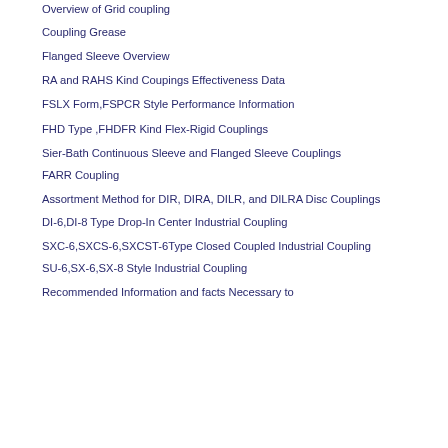Overview of Grid coupling
Coupling Grease
Flanged Sleeve Overview
RA and RAHS Kind Coupings Effectiveness Data
FSLX Form,FSPCR Style Performance Information
FHD Type ,FHDFR Kind Flex-Rigid Couplings
Sier-Bath Continuous Sleeve and Flanged Sleeve Couplings
FARR Coupling
Assortment Method for DIR, DIRA, DILR, and DILRA Disc Couplings
DI-6,DI-8 Type Drop-In Center Industrial Coupling
SXC-6,SXCS-6,SXCST-6Type Closed Coupled Industrial Coupling
SU-6,SX-6,SX-8 Style Industrial Coupling
Recommended Information and facts Necessary to